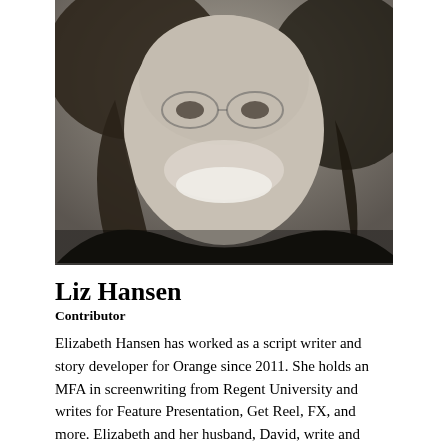[Figure (photo): Black and white headshot photograph of a smiling woman with curly dark hair, cropped to show face and upper shoulders.]
Liz Hansen
Contributor
Elizabeth Hansen has worked as a script writer and story developer for Orange since 2011. She holds an MFA in screenwriting from Regent University and writes for Feature Presentation, Get Reel, FX, and more. Elizabeth and her husband, David, write and produce films